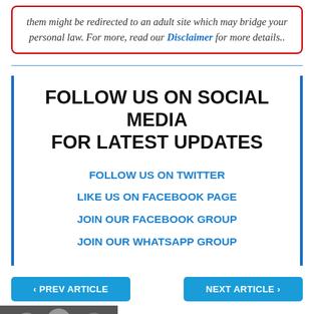them might be redirected to an adult site which may bridge your personal law. For more, read our Disclaimer for more details..
FOLLOW US ON SOCIAL MEDIA FOR LATEST UPDATES
FOLLOW US ON TWITTER
LIKE US ON FACEBOOK PAGE
JOIN OUR FACEBOOK GROUP
JOIN OUR WHATSAPP GROUP
< PREV ARTICLE
NEXT ARTICLE >
Jeunes To Feature Davido & King Daniel On
[Figure (screenshot): BitLife advertisement banner with sperm icon, 'Murder' text, and 'Do it!' button]
[Figure (photo): Photo of celebrities (musicians) at bottom left of page]